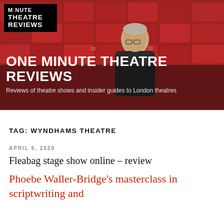[Figure (photo): Hero banner showing a man sitting in red theatre seats, with the One Minute Theatre Reviews logo overlaid, and the site title and tagline displayed at the bottom]
TAG: WYNDHAMS THEATRE
APRIL 9, 2020
Fleabag stage show online – review
Phoebe Waller-Bridge's masterclass in scriptwriting and